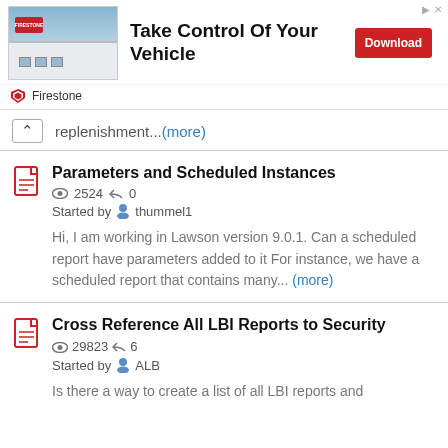[Figure (screenshot): Firestone advertisement banner with building image, 'Take Control Of Your Vehicle' headline, and red Download button]
replenishment... (more)
Parameters and Scheduled Instances
👁 2524  🔁 0
Started by thummel1
Hi, I am working in Lawson version 9.0.1. Can a scheduled report have parameters added to it For instance, we have a scheduled report that contains many... (more)
Cross Reference All LBI Reports to Security
👁 29823  🔁 6
Started by ALB
Is there a way to create a list of all LBI reports and